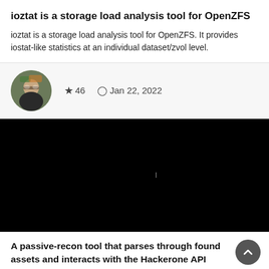ioztat is a storage load analysis tool for OpenZFS
ioztat is a storage load analysis tool for OpenZFS. It provides iostat-like statistics at an individual dataset/zvol level.
[Figure (photo): Circular avatar photo of a person wearing glasses, with green/orange background foliage]
★ 46   🕐 Jan 22, 2022
[Figure (screenshot): Black panel/video player area with a cursor indicator in the center]
A passive-recon tool that parses through found assets and interacts with the Hackerone API
Hackerone Passive Recon Tool A passive-recon tool that parses